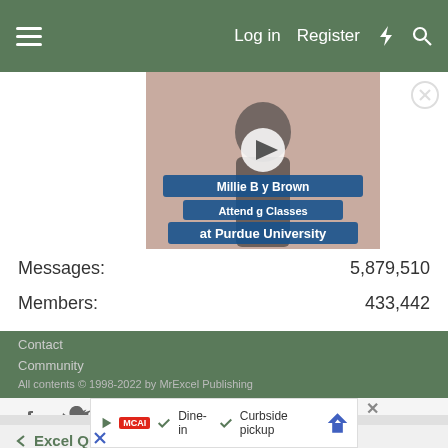Log in  Register
[Figure (screenshot): Video thumbnail overlay showing a woman at a BAFTA red carpet event with text 'Millie Bobby Brown Attending Classes at Purdue University' and a play button]
Messages: 5,879,510
Members: 433,442
Latest member: Stan76
Share this page
Social share icons: Facebook, Twitter, Reddit, Pinterest, Tumblr, WhatsApp, Email, Link
< Excel Questions
Contact
Community
All contents © 1998-2022 by MrExcel Publishing
[Figure (screenshot): Advertisement banner showing Dine-in and Curbside pickup with navigation icon]